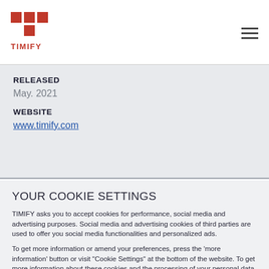[Figure (logo): TIMIFY logo: red T-shaped grid icon above the word TIMIFY in red]
RELEASED
May. 2021
WEBSITE
www.timify.com
YOUR COOKIE SETTINGS
TIMIFY asks you to accept cookies for performance, social media and advertising purposes. Social media and advertising cookies of third parties are used to offer you social media functionalities and personalized ads.
To get more information or amend your preferences, press the 'more information' button or visit "Cookie Settings" at the bottom of the website. To get more information about these cookies and the processing of your personal data, check our Privacy & Cookie Policy. Do you accept these cookies and the processing of personal data involved?
YES, I ACCEPT
MORE INFORMATION